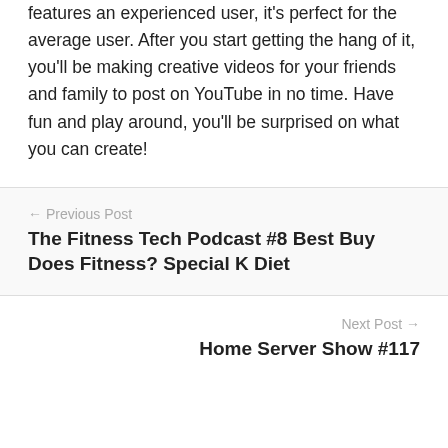features an experienced user, it's perfect for the average user. After you start getting the hang of it, you'll be making creative videos for your friends and family to post on YouTube in no time. Have fun and play around, you'll be surprised on what you can create!
← Previous Post
The Fitness Tech Podcast #8 Best Buy Does Fitness? Special K Diet
Next Post →
Home Server Show #117